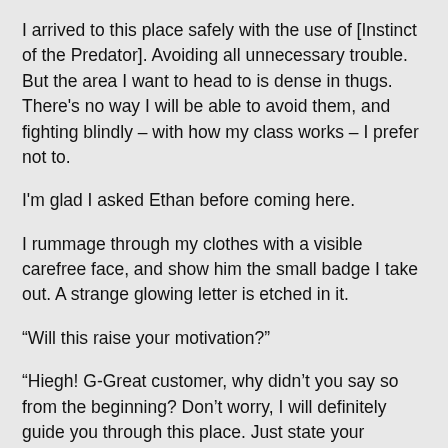I arrived to this place safely with the use of [Instinct of the Predator]. Avoiding all unnecessary trouble. But the area I want to head to is dense in thugs. There's no way I will be able to avoid them, and fighting blindly – with how my class works – I prefer not to.
I'm glad I asked Ethan before coming here.
I rummage through my clothes with a visible carefree face, and show him the small badge I take out. A strange glowing letter is etched in it.
“Will this raise your motivation?”
“Hiegh! G-Great customer, why didn’t you say so from the beginning? Don’t worry, I will definitely guide you through this place. Just state your destination and I will make sure you definitely get there safely. Since it is